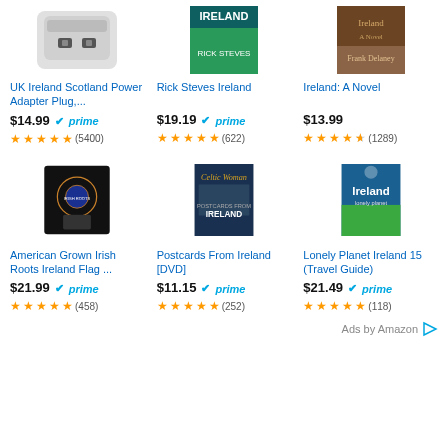[Figure (photo): UK Ireland Scotland Power Adapter Plug product image - white power adapter with USB ports]
UK Ireland Scotland Power Adapter Plug,...
$14.99 prime
(5400)
[Figure (photo): Rick Steves Ireland book cover with teal/green color]
Rick Steves Ireland
$19.19 prime
(622)
[Figure (photo): Ireland: A Novel book cover by Frank Delaney]
Ireland: A Novel
$13.99
(1289)
[Figure (photo): Black t-shirt with American Grown Irish Roots Ireland Flag design]
American Grown Irish Roots Ireland Flag ...
$21.99 prime
(458)
[Figure (photo): Celtic Woman Postcards From Ireland DVD cover]
Postcards From Ireland [DVD]
$11.15 prime
(252)
[Figure (photo): Lonely Planet Ireland 15 Travel Guide book cover with coastal scenery]
Lonely Planet Ireland 15 (Travel Guide)
$21.49 prime
(118)
Ads by Amazon